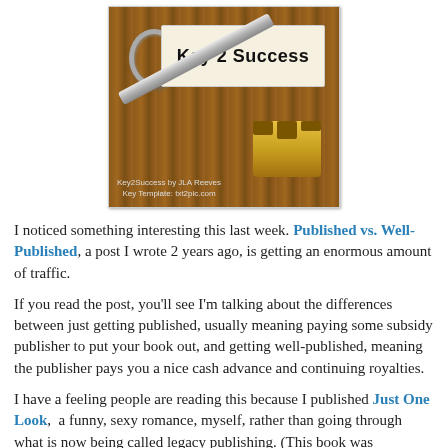[Figure (photo): A silver key on a wooden surface with a paper tag reading 'Key 2 Success' in handwritten style. Watermark text reads 'Key2Success by JLA Reeves' and 'Key Template: txt2pic.com']
I noticed something interesting this last week. Published vs. Well-Published, a post I wrote 2 years ago, is getting an enormous amount of traffic.
If you read the post, you'll see I'm talking about the differences between just getting published, usually meaning paying some subsidy publisher to put your book out, and getting well-published, meaning the publisher pays you a nice cash advance and continuing royalties.
I have a feeling people are reading this because I published Just One Look,  a funny, sexy romance, myself, rather than going through what is now being called legacy publishing. (This book was previously published -- in fact, in various editions with 3 different publishers.)